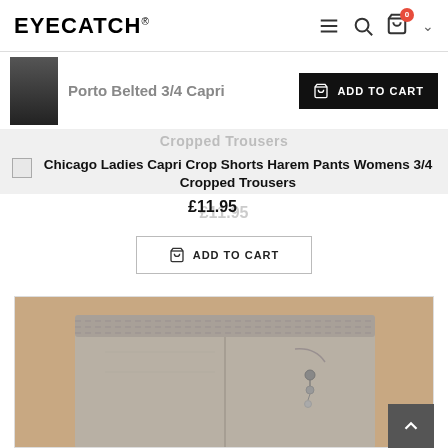EYECATCH®
[Figure (screenshot): Thumbnail of Porto Belted 3/4 Capri product - black capri pants worn by model]
Porto Belted 3/4 Capri
ADD TO CART
[Figure (screenshot): Small broken image icon for Chicago product]
Chicago Ladies Capri Crop Shorts Harem Pants Womens 3/4 Cropped Trousers
£11.95
ADD TO CART
[Figure (photo): Bottom portion of light grey/taupe harem pants with elastic waistband and decorative button detail, worn by model]